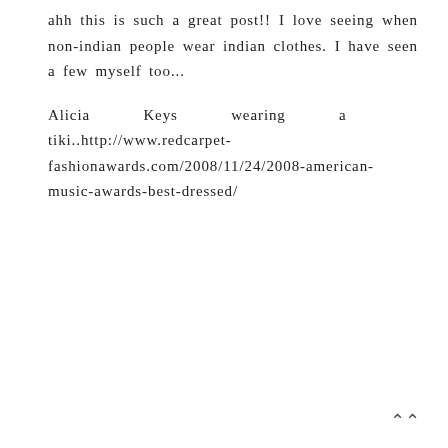ahh this is such a great post!! I love seeing when non-indian people wear indian clothes. I have seen a few myself too...
Alicia Keys wearing a tiki..http://www.redcarpet-fashionawards.com/2008/11/24/2008-american-music-awards-best-dressed/